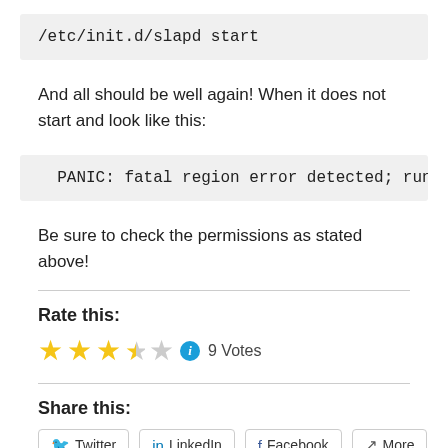/etc/init.d/slapd start
And all should be well again! When it does not start and look like this:
PANIC: fatal region error detected; run r
Be sure to check the permissions as stated above!
Rate this:
[Figure (other): Star rating: 3.5 out of 5 stars with info icon, 9 Votes]
Share this:
Twitter  LinkedIn  Facebook  More